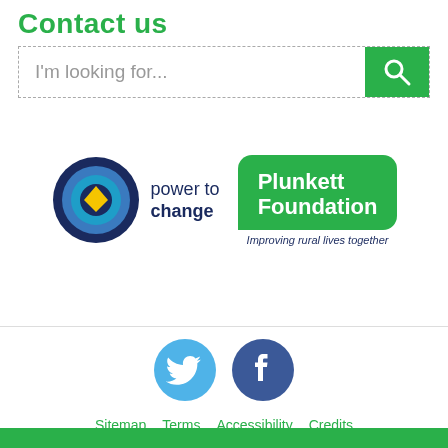Contact us
[Figure (screenshot): Search bar with placeholder text 'I'm looking for...' and a green search button with magnifying glass icon]
[Figure (logo): Power to Change logo with circular concentric rings and diamond shape, alongside text 'power to change']
[Figure (logo): Plunkett Foundation logo - green rounded badge with white text 'Plunkett Foundation' and tagline 'Improving rural lives together']
[Figure (logo): Twitter bird icon in light blue circle and Facebook 'f' icon in dark blue circle]
Sitemap   Terms   Accessibility   Credits
Copyright © Plunkett Foundation 2017